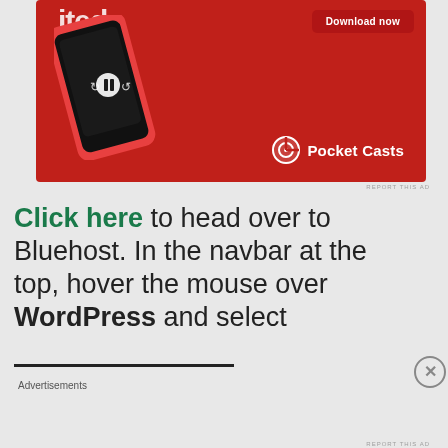[Figure (screenshot): Pocket Casts app advertisement on red background showing a smartphone with a podcast app open, Download now button, and Pocket Casts logo]
REPORT THIS AD
Click here to head over to Bluehost. In the navbar at the top, hover the mouse over WordPress and select WordPress Hosting from the
[Figure (screenshot): DuckDuckGo advertisement with orange background showing 'Search, browse, and email with more privacy. All in One Free App' with a smartphone showing DuckDuckGo app]
Advertisements
REPORT THIS AD